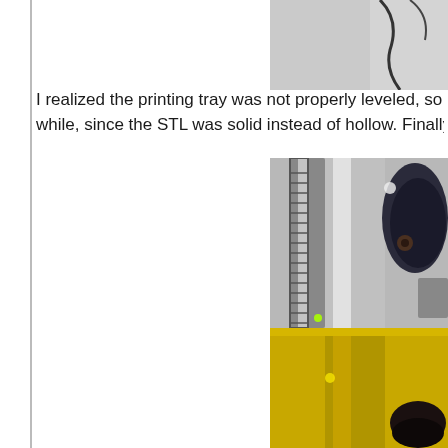[Figure (photo): Top right photo showing a partial view of a 3D printer or equipment with a gray/silver background]
I realized the printing tray was not properly leveled, so I decided to re-level, also it was going to take a while, since the STL was solid instead of hollow. Finally, It wa
[Figure (photo): Photo of a 3D printer in operation showing a cylindrical yellow resin tank, metal rod/rail, and a dark mechanical arm/component]